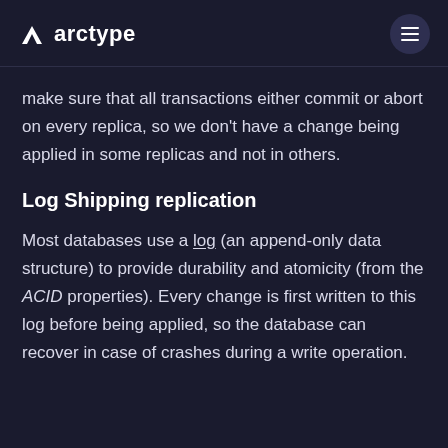arctype
make sure that all transactions either commit or abort on every replica, so we don’t have a change being applied in some replicas and not in others.
Log Shipping replication
Most databases use a log (an append-only data structure) to provide durability and atomicity (from the ACID properties). Every change is first written to this log before being applied, so the database can recover in case of crashes during a write operation.